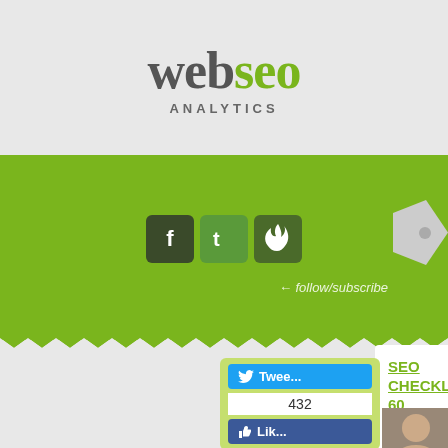[Figure (logo): webseo analytics logo — 'web' in dark gray, 'seo' in green, 'ANALYTICS' in gray below]
[Figure (infographic): Green banner with Facebook, Twitter, and fire social media icons, and follow/subscribe handwritten text. Arrow/bookmark tab on right side. Zigzag bottom border.]
SEO CHECKLIST: 60 ESSENTIA... WEBSITE
Posted by bbriniotis on Monday, March... to Guides, Programming, SEO